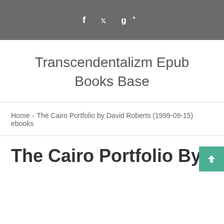f  ✓  g+
Transcendentalizm Epub Books Base
Home › The Cairo Portfolio by David Roberts (1999-09-15) ebooks
The Cairo Portfolio By